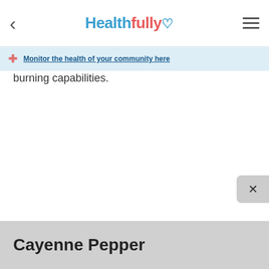Healthfully ♥
Monitor the health of your community here
burning capabilities.
Cayenne Pepper